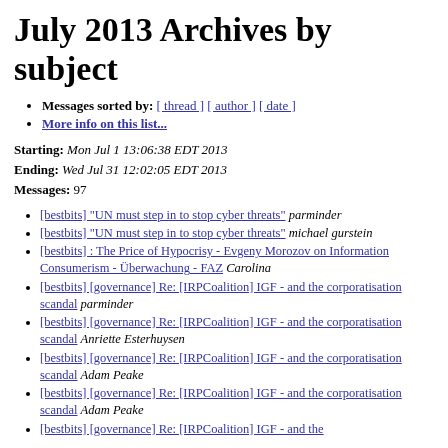July 2013 Archives by subject
Messages sorted by: [ thread ] [ author ] [ date ]
More info on this list...
Starting: Mon Jul 1 13:06:38 EDT 2013
Ending: Wed Jul 31 12:02:05 EDT 2013
Messages: 97
[bestbits] "UN must step in to stop cyber threats"  parminder
[bestbits] "UN must step in to stop cyber threats"  michael gurstein
[bestbits] : The Price of Hypocrisy - Evgeny Morozov on Information Consumerism - Überwachung - FAZ  Carolina
[bestbits] [governance] Re: [IRPCoalition] IGF - and the corporatisation scandal  parminder
[bestbits] [governance] Re: [IRPCoalition] IGF - and the corporatisation scandal  Anriette Esterhuysen
[bestbits] [governance] Re: [IRPCoalition] IGF - and the corporatisation scandal  Adam Peake
[bestbits] [governance] Re: [IRPCoalition] IGF - and the corporatisation scandal  Adam Peake
[bestbits] [governance] Re: [IRPCoalition] IGF - and the corporatisation scandal